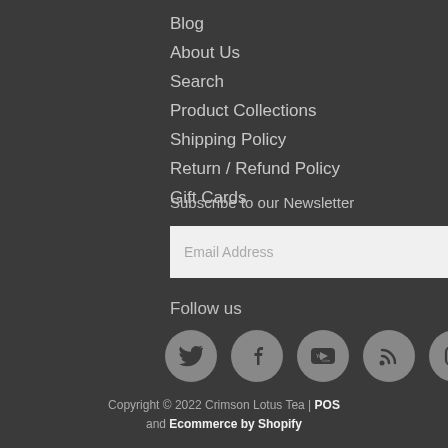Blog
About Us
Search
Product Collections
Shipping Policy
Return / Refund Policy
Gift Cards
Subscribe to our Newsletter
Email Address
Subscribe
Follow us
[Figure (illustration): Five social media icon circles: Twitter, Facebook, YouTube, RSS feed, Instagram]
Copyright © 2022 Crimson Lotus Tea | POS and Ecommerce by Shopify